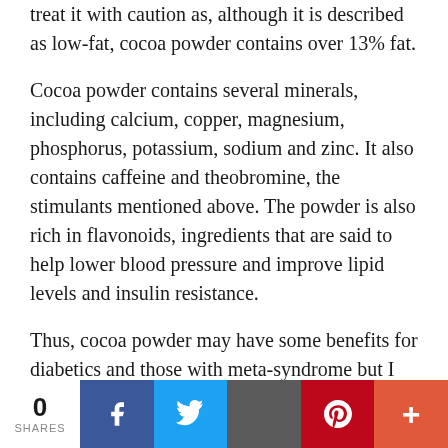treat it with caution as, although it is described as low-fat, cocoa powder contains over 13% fat.
Cocoa powder contains several minerals, including calcium, copper, magnesium, phosphorus, potassium, sodium and zinc. It also contains caffeine and theobromine, the stimulants mentioned above. The powder is also rich in flavonoids, ingredients that are said to help lower blood pressure and improve lipid levels and insulin resistance.
Thus, cocoa powder may have some benefits for diabetics and those with meta-syndrome but I still feel that it should only be used on an
0 SHARES | Facebook | Twitter | Email | Pinterest | More